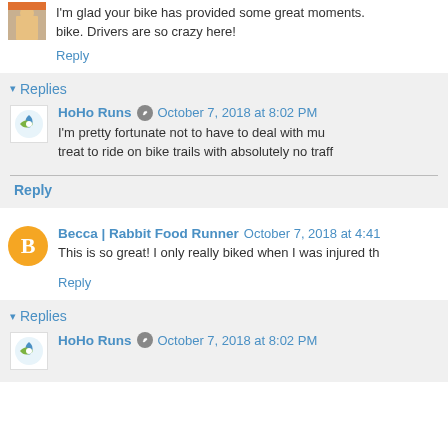I'm glad your bike has provided some great moments. bike. Drivers are so crazy here!
Reply
▾ Replies
HoHo Runs  October 7, 2018 at 8:02 PM
I'm pretty fortunate not to have to deal with mu treat to ride on bike trails with absolutely no traff
Reply
Becca | Rabbit Food Runner  October 7, 2018 at 4:41
This is so great! I only really biked when I was injured th
Reply
▾ Replies
HoHo Runs  October 7, 2018 at 8:02 PM